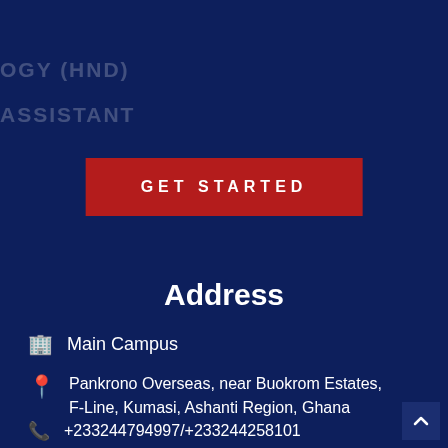OGY (HND)
ASSISTANT
GET STARTED
Address
Main Campus
Pankrono Overseas, near Buokrom Estates, F-Line, Kumasi, Ashanti Region, Ghana
+233244794997/+233244258101